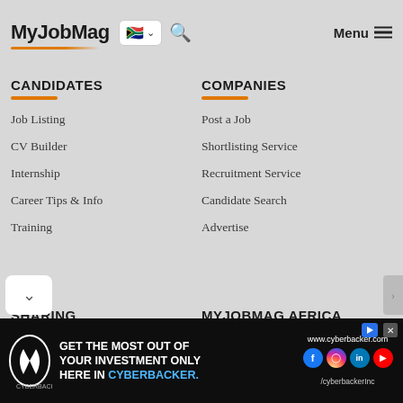MyJobMag — Menu
CANDIDATES
Job Listing
CV Builder
Internship
Career Tips & Info
Training
COMPANIES
Post a Job
Shortlisting Service
Recruitment Service
Candidate Search
Advertise
SHARING
Job Widget
XML Feed
...map (HTML)
MYJOBMAG AFRICA
Jobs in Ghana
Jobs in Kenya
Jobs in Nigeria
[Figure (other): Cyberbacker advertisement banner with logo, text 'GET THE MOST OUT OF YOUR INVESTMENT ONLY HERE IN CYBERBACKER.' and social media icons, URL www.cyberbacker.com]